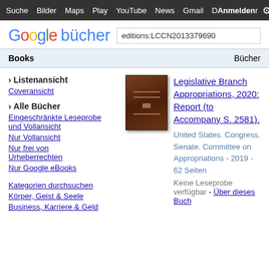Suche Bilder Maps Play YouTube News Gmail Mehr Anmelden
[Figure (logo): Google bücher logo with search box containing: editions:LCCN2013379690]
Books    Bücher
› Listenansicht
Coveransicht
› Alle Bücher
Eingeschränkte Leseprobe und Vollansicht
Nur Vollansicht
Nur frei von Urheberrechten
Nur Google eBooks
Kategorien durchsuchen
Körper, Geist & Seele
Business, Karriere & Geld
[Figure (photo): Book cover - dark brown hardcover book]
Legislative Branch Appropriations, 2020: Report (to Accompany S. 2581).
United States. Congress. Senate. Committee on Appropriations - 2019 - 62 Seiten
Keine Leseprobe verfügbar - Über dieses Buch